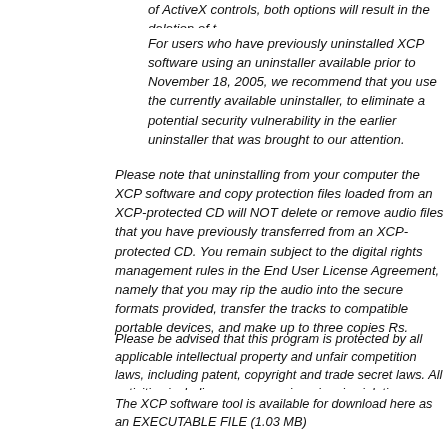of ActiveX controls, both options will result in the deletion of t
For users who have previously uninstalled XCP software using an uninstaller available prior to November 18, 2005, we recommend that you use the currently available uninstaller, to eliminate a potential security vulnerability in the earlier uninstaller that was brought to our attention.
Please note that uninstalling from your computer the XCP software and copy protection files loaded from an XCP-protected CD will NOT delete or remove audio files that you have previously transferred from an XCP-protected CD. You remain subject to the digital rights management rules in the End User License Agreement, namely that you may rip the audio into the secure formats provided, transfer the tracks to compatible portable devices, and make up to three copies Rs.
Please be advised that this program is protected by all applicable intellectual property and unfair competition laws, including patent, copyright and trade secret laws. All activities including reverse engineering, in violation thereof are prohibited.
The XCP software tool is available for download here as an EXECUTABLE FILE (1.03 MB)
<<< Added with Edit >>>This appears to be the executable uninstaller referenced by Mark Russinovich, though I haven't done anything to confirm this myself. At this hour no new comments on Mark's Blog either, so it must have just released. We'll see what happens in a few days.
AnlusWebMaster